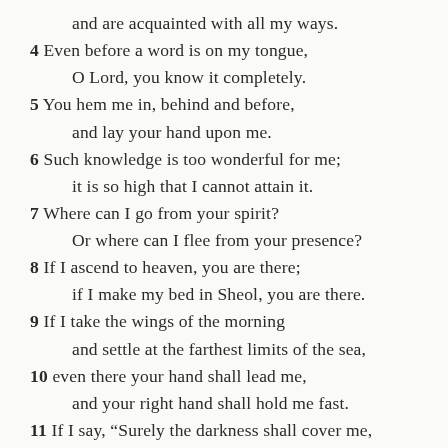and are acquainted with all my ways.
4 Even before a word is on my tongue, O Lord, you know it completely.
5 You hem me in, behind and before, and lay your hand upon me.
6 Such knowledge is too wonderful for me; it is so high that I cannot attain it.
7 Where can I go from your spirit? Or where can I flee from your presence?
8 If I ascend to heaven, you are there; if I make my bed in Sheol, you are there.
9 If I take the wings of the morning and settle at the farthest limits of the sea,
10 even there your hand shall lead me, and your right hand shall hold me fast.
11 If I say, “Surely the darkness shall cover me, and the light around me become night,”